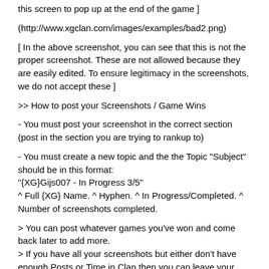this screen to pop up at the end of the game ]
(http://www.xgclan.com/images/examples/bad2.png)
[ In the above screenshot, you can see that this is not the proper screenshot. These are not allowed because they are easily edited. To ensure legitimacy in the screenshots, we do not accept these ]
>> How to post your Screenshots / Game Wins
- You must post your screenshot in the correct section (post in the section you are trying to rankup to)
- You must create a new topic and the the Topic "Subject" should be in this format:
"{XG}Gijs007 - In Progress 3/5"
^ Full {XG} Name. ^ Hyphen. ^ In Progress/Completed. ^ Number of screenshots completed.
> You can post whatever games you've won and come back later to add more.
> If you have all your screenshots but either don't have enough Posts or Time in Clan then you can leave your screenshots up until you've reached them.
3) Post Count
Pretty self explanatory.
You can see them under your avatar when you post anything